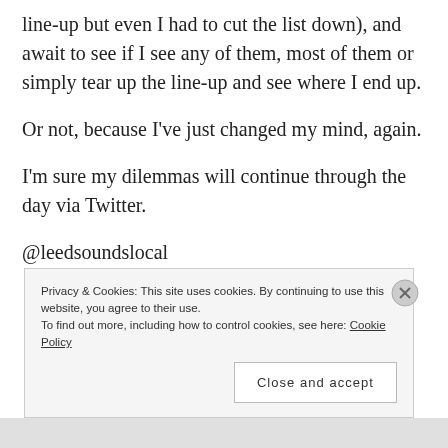line-up but even I had to cut the list down), and await to see if I see any of them, most of them or simply tear up the line-up and see where I end up.
Or not, because I've just changed my mind, again.
I'm sure my dilemmas will continue through the day via Twitter.
@leedsoundslocal
Privacy & Cookies: This site uses cookies. By continuing to use this website, you agree to their use.
To find out more, including how to control cookies, see here: Cookie Policy